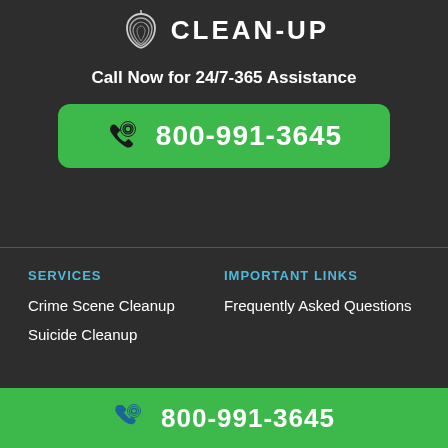[Figure (logo): Crime scene cleanup company logo with fingerprint/leaf icon and text CLEAN-UP]
Call Now for 24/7-365 Assistance
800-991-3645
SERVICES
IMPORTANT LINKS
Crime Scene Cleanup
Frequently Asked Questions
Suicide Cleanup
800-991-3645